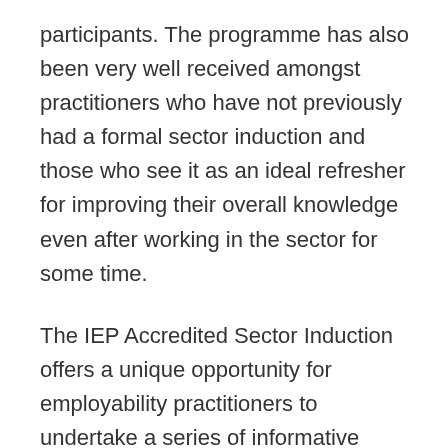participants. The programme has also been very well received amongst practitioners who have not previously had a formal sector induction and those who see it as an ideal refresher for improving their overall knowledge even after working in the sector for some time.
The IEP Accredited Sector Induction offers a unique opportunity for employability practitioners to undertake a series of informative modules that provide solid sector knowledge and advice on how to practice in the employability sector. On completion of the Induction learners receive a Certificate to confirm that the holder has met the standards required to operate